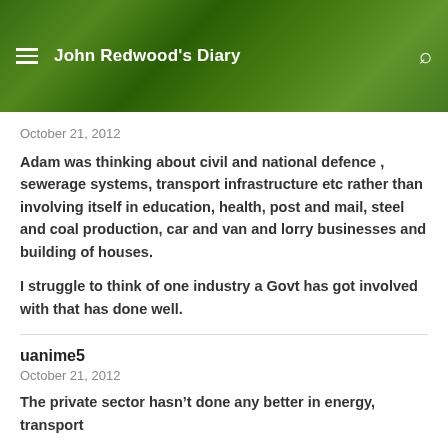John Redwood's Diary
October 21, 2012
Adam was thinking about civil and national defence , sewerage systems, transport infrastructure etc rather than involving itself in education, health, post and mail, steel and coal production, car and van and lorry businesses and building of houses.
I struggle to think of one industry a Govt has got involved with that has done well.
uanime5
October 21, 2012
The private sector hasn't done any better in energy, transport